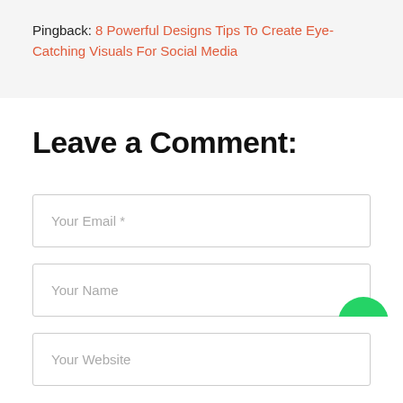Pingback: 8 Powerful Designs Tips To Create Eye-Catching Visuals For Social Media
Leave a Comment:
Your Email *
Your Name
Your Website